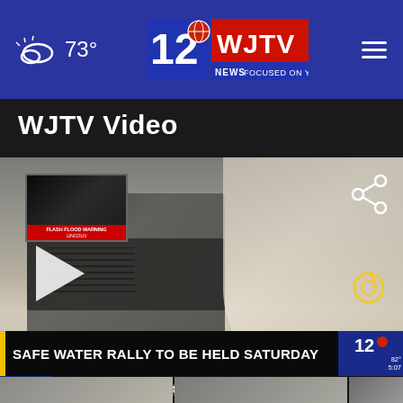73° WJTV 12 News Focused On You
WJTV Video
[Figure (screenshot): Video thumbnail showing a school water fountain in a hallway, with a small inset thumbnail of a flash flood warning for Lincoln county. Share icon in top right, play button bottom left, loop icon bottom right. Lower bar reads: SAFE WATER RALLY TO BE HELD SATURDAY with WJTV channel 12 badge showing 82° / 5:07. Weather ticker shows YAZOO CITY, NOW 84°, Tonight 72°, FORECASTS.]
[Figure (photo): Row of three partial video thumbnail images at the bottom of the page.]